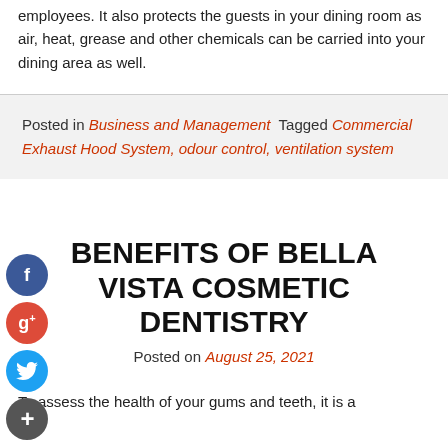employees. It also protects the guests in your dining room as air, heat, grease and other chemicals can be carried into your dining area as well.
Posted in Business and Management  Tagged Commercial Exhaust Hood System, odour control, ventilation system
BENEFITS OF BELLA VISTA COSMETIC DENTISTRY
Posted on August 25, 2021
To assess the health of your gums and teeth, it is a